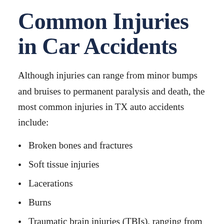Common Injuries in Car Accidents
Although injuries can range from minor bumps and bruises to permanent paralysis and death, the most common injuries in TX auto accidents include:
Broken bones and fractures
Soft tissue injuries
Lacerations
Burns
Traumatic brain injuries (TBIs), ranging from mild concussions to permanent cognitive